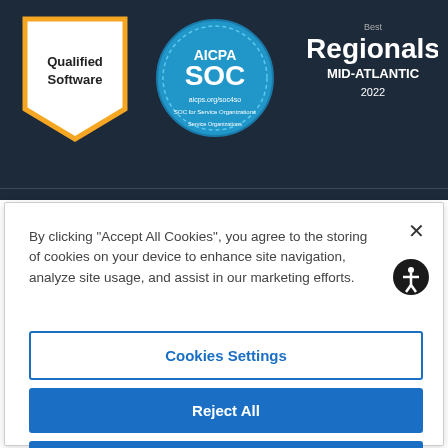[Figure (screenshot): Dark navy background section showing three badges: a 'Qualified Software' badge with an orange/yellow chevron shape, an AICPA SOC circular blue badge (aicps.org/soc4so), and a 'Best Regionals MID-ATLANTIC 2022' badge in white text.]
By clicking “Accept All Cookies”, you agree to the storing of cookies on your device to enhance site navigation, analyze site usage, and assist in our marketing efforts.
Cookies Settings
Reject All
Accept All Cookies